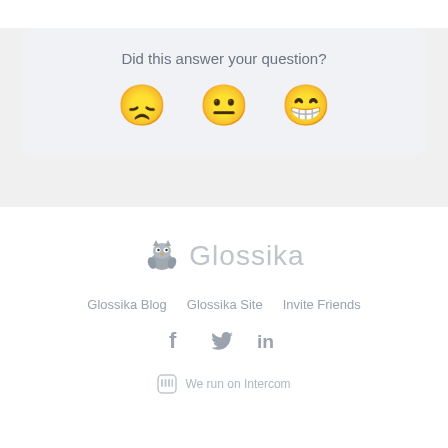Did this answer your question?
[Figure (illustration): Three emoji faces: disappointed/sad face, neutral face, and happy/grinning face — used as feedback reaction buttons]
[Figure (logo): Glossika logo: a cartoon cat/owl mascot icon next to the word Glossika in light gray]
Glossika Blog   Glossika Site   Invite Friends
[Figure (illustration): Social media icons: Facebook f, Twitter bird, LinkedIn in]
We run on Intercom